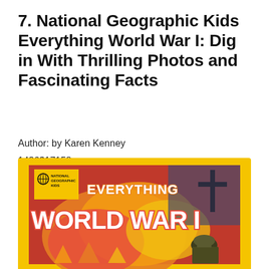7. National Geographic Kids Everything World War I: Dig in With Thrilling Photos and Fascinating Facts
Author: by Karen Kenney
1426317158
National Geographic Kids
English
[Figure (photo): Book cover of 'National Geographic Kids Everything World War I' showing the title in bold white letters with orange outline, a dramatic battle scene with fire and explosions, a soldier silhouette, and the National Geographic Kids logo in the upper left corner. The cover has a yellow border.]